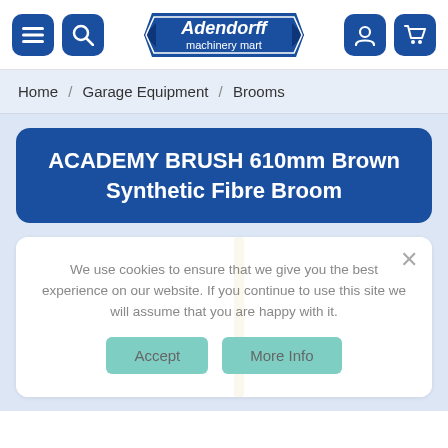Adendorff machinery mart — navigation header
Home / Garage Equipment / Brooms
ACADEMY BRUSH 610mm Brown Synthetic Fibre Broom
[Figure (photo): Partial view of a broom with wooden handle against a white background, partially obscured by cookie consent overlay]
We use cookies to ensure that we give you the best experience on our website. If you continue to use this site we will assume that you are happy with it.
Accept | More Info